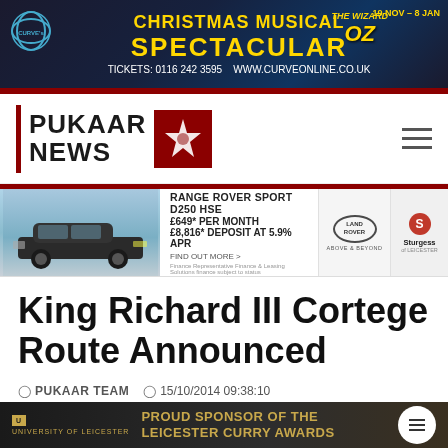[Figure (screenshot): Christmas Musical Spectacular banner ad for Curve theatre, The Wizard of Oz, 19 Nov - 8 Jan. Tickets: 0116 242 3595, www.curveonline.co.uk]
[Figure (logo): Pukaar News logo with red vertical bar and red star graphic]
[Figure (screenshot): Range Rover Sport D250 HSE advertisement. £649* per month, £8,816* deposit at 5.9% APR. Land Rover and Sturgess of Leicester logos.]
King Richard III Cortege Route Announced
PUKAAR TEAM   15/10/2014 09:38:10
[Figure (screenshot): University of Leicester - Proud Sponsor of the Leicester Curry Awards banner ad]
The ceremonial route for the cortege which will